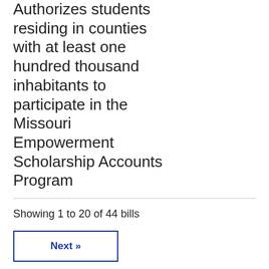Authorizes students residing in counties with at least one hundred thousand inhabitants to participate in the Missouri Empowerment Scholarship Accounts Program
Showing 1 to 20 of 44 bills
Next »